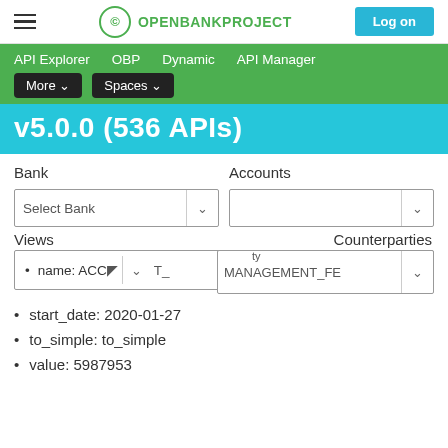OPENBANKPROJECT — Log on
API Explorer  OBP  Dynamic  API Manager  More ▾  Spaces ▾
v5.0.0 (536 APIs)
Bank    Accounts
Select Bank
Views    Counterparties
name: ACCO ... T_MANAGEMENT_FE
start_date: 2020-01-27
to_simple: to_simple
value: 5987953